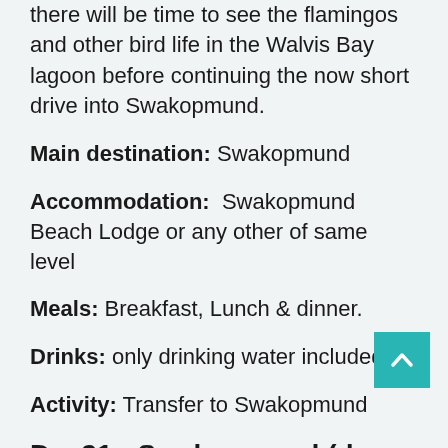there will be time to see the flamingos and other bird life in the Walvis Bay lagoon before continuing the now short drive into Swakopmund.
Main destination: Swakopmund
Accommodation: Swakopmund Beach Lodge or any other of same level
Meals: Breakfast, Lunch & dinner.
Drinks: only drinking water included
Activity: Transfer to Swakopmund
Day21: Swakopmund (day